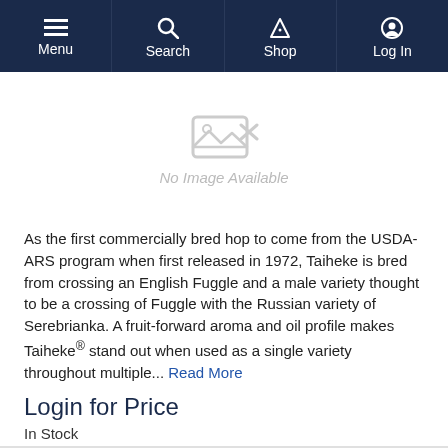Menu | Search | Shop | Log In
[Figure (other): No Image Available placeholder with greyed-out image icon]
As the first commercially bred hop to come from the USDA-ARS program when first released in 1972, Taiheke is bred from crossing an English Fuggle and a male variety thought to be a crossing of Fuggle with the Russian variety of Serebrianka. A fruit-forward aroma and oil profile makes Taiheke® stand out when used as a single variety throughout multiple... Read More
Login for Price
In Stock
Request Info